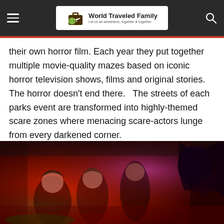World Traveled Family — Let us an adventure, together & together
their own horror film. Each year they put together multiple movie-quality mazes based on iconic horror television shows, films and original stories. The horror doesn't end there. The streets of each parks event are transformed into highly-themed scare zones where menacing scare-actors lunge from every darkened corner.
[Figure (photo): People screaming and laughing inside a horror maze attraction, lit with vivid red and purple lighting, with a costumed monster character lunging at them]